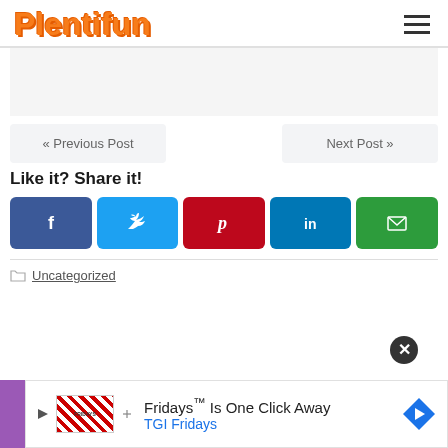Plentifun
[Figure (other): Gray advertisement placeholder area]
« Previous Post
Next Post »
Like it? Share it!
[Figure (other): Social share buttons: Facebook (blue), Twitter (light blue), Pinterest (red), LinkedIn (dark blue), Email (green)]
Uncategorized
[Figure (other): Advertisement banner: Fridays Is One Click Away - TGI Fridays with close button]